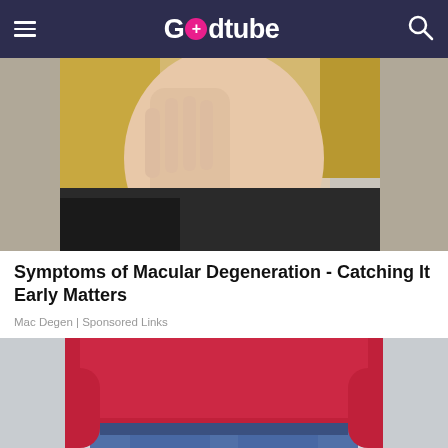Godtube
[Figure (photo): Close-up of a blonde woman holding her hand near her face, looking distressed, suggesting eye discomfort]
Symptoms of Macular Degeneration - Catching It Early Matters
Mac Degen | Sponsored Links
[Figure (photo): Woman in red/magenta top and jeans with hands clasped over her lower abdomen area]